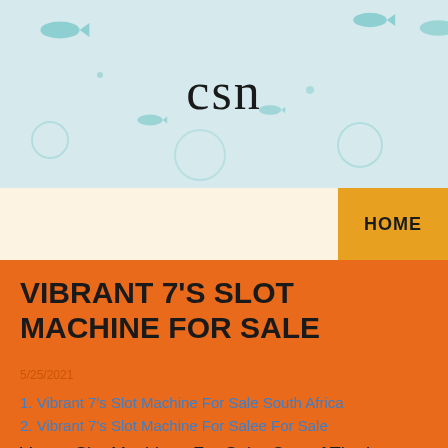csn
VIBRANT 7'S SLOT MACHINE FOR SALE
5/25/2021
1. Vibrant 7's Slot Machine For Sale South Africa
2. Vibrant 7's Slot Machine For Salee For Sale
Vegas Slot Machines For Sale, One of The Largest